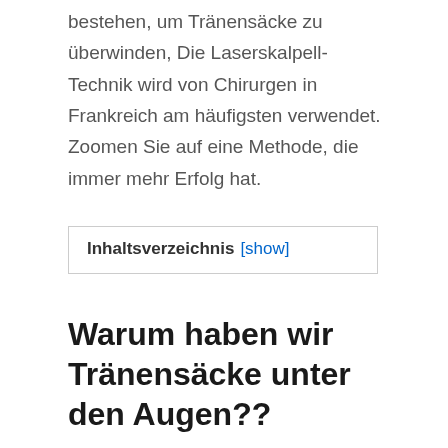bestehen, um Tränensäcke zu überwinden, Die Laserskalpell-Technik wird von Chirurgen in Frankreich am häufigsten verwendet. Zoomen Sie auf eine Methode, die immer mehr Erfolg hat.
Inhaltsverzeichnis [show]
Warum haben wir Tränensäcke unter den Augen??
Viele Leute denken, dass Tränensäcke nur auf Flüssigkeitsansammlungen zurückzuführen sind, die mit Schlafmangel einhergehen, schlechte Schlafhaltung oder allgemeiner Erschöpfungszustand. Es ist überhaupt nicht der